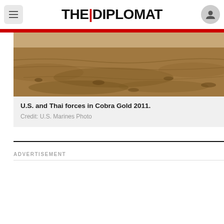THE DIPLOMAT
[Figure (photo): Desert terrain photograph showing sandy rocky ground, partial view cropped at top — U.S. and Thai forces in Cobra Gold 2011. Credit: U.S. Marines Photo]
U.S. and Thai forces in Cobra Gold 2011.
Credit: U.S. Marines Photo
ADVERTISEMENT